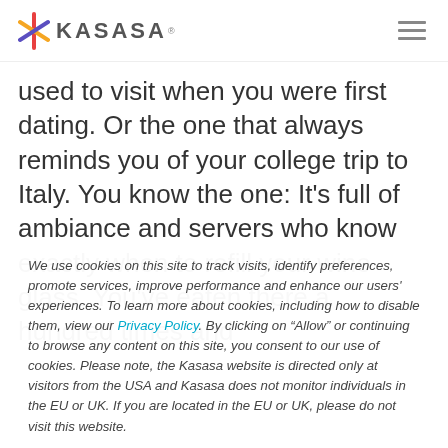KASASA
used to visit when you were first dating. Or the one that always reminds you of your college trip to Italy. You know the one: It's full of ambiance and servers who know exactly when to refill your wine glass. You've eaten there a hundred times and
We use cookies on this site to track visits, identify preferences, promote services, improve performance and enhance our users' experiences. To learn more about cookies, including how to disable them, view our Privacy Policy. By clicking on “Allow” or continuing to browse any content on this site, you consent to our use of cookies. Please note, the Kasasa website is directed only at visitors from the USA and Kasasa does not monitor individuals in the EU or UK. If you are located in the EU or UK, please do not visit this website.
Allow